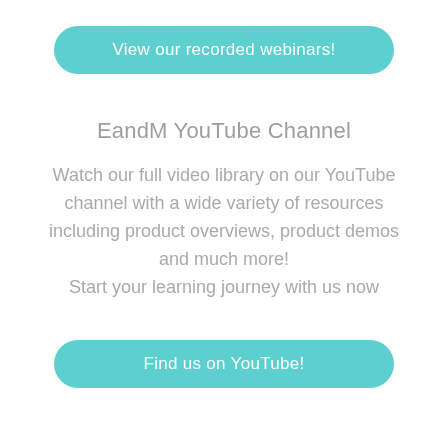View our recorded webinars!
EandM YouTube Channel
Watch our full video library on our YouTube channel with a wide variety of resources including product overviews, product demos and much more! Start your learning journey with us now
Find us on YouTube!